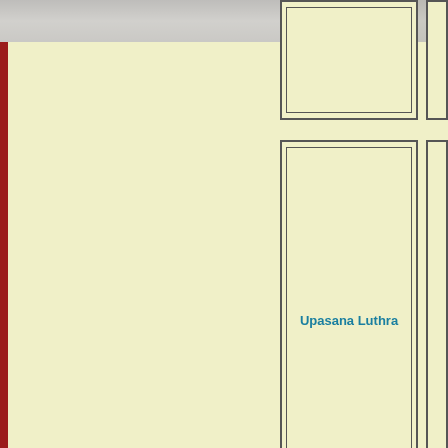[Figure (photo): Top decorative photo/texture strip across the page width]
[Figure (illustration): Card with Upasana Luthra name label, bordered box on right side of page]
Upasana Luthra
[Figure (illustration): Card with Yamini Deepak name label, bordered box on right side of page]
Yamini Deepak